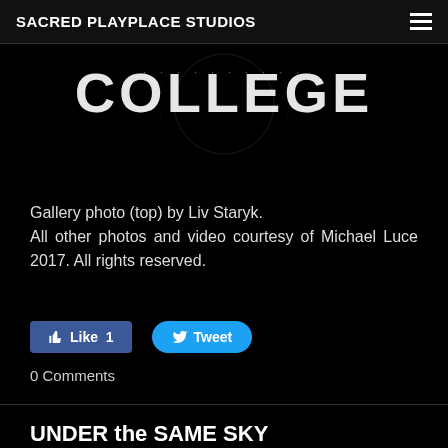SACRED PLAYPLACE STUDIOS
[Figure (screenshot): Dark banner image showing the word COLLEGE in large white bold letters with subtitle OCTOBER 2017, WALLA WALLA, WA]
Gallery photo (top) by Liv Staryk. All other photos and video courtesy of Michael Luce 2017. All rights reserved.
Like 1  Tweet
0 Comments
UNDER the SAME SKY
3/23/2018
0 Comments